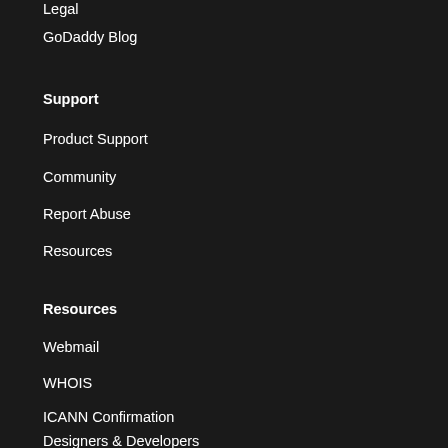Legal
GoDaddy Blog
Support
Product Support
Community
Report Abuse
Resources
Resources
Webmail
WHOIS
ICANN Confirmation
Designers & Developers